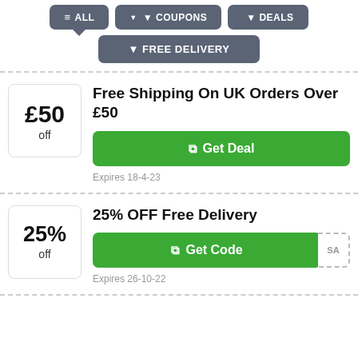ALL  COUPONS  DEALS  FREE DELIVERY
Free Shipping On UK Orders Over £50
Get Deal
Expires 18-4-23
25% OFF Free Delivery
Get Code
Expires 26-10-22